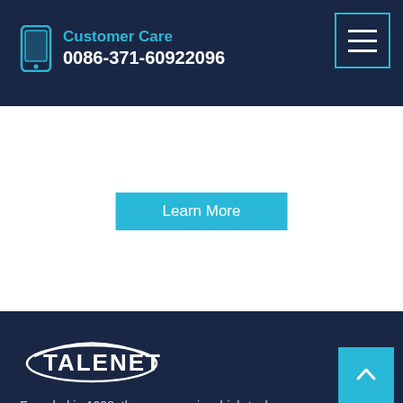Customer Care
0086-371-60922096
Learn More
[Figure (logo): TALENET company logo — white text with oval swoosh on dark navy background]
Founded in 1998, the company is a high-tech enterprise integrating R&D, manufacturing, sales and service. In the past